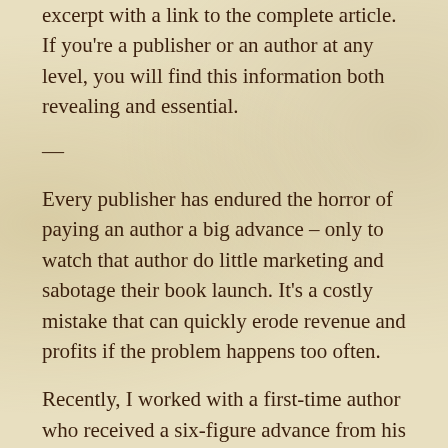excerpt with a link to the complete article. If you're a publisher or an author at any level, you will find this information both revealing and essential.
—
Every publisher has endured the horror of paying an author a big advance – only to watch that author do little marketing and sabotage their book launch. It's a costly mistake that can quickly erode revenue and profits if the problem happens too often.
Recently, I worked with a first-time author who received a six-figure advance from his publisher